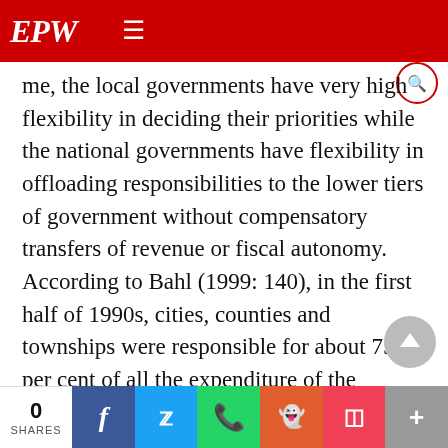EPW [navigation bar with social icons]
me, the local governments have very high flexibility in deciding their priorities while the national governments have flexibility in offloading responsibilities to the lower tiers of government without compensatory transfers of revenue or fiscal autonomy. According to Bahl (1999: 140), in the first half of 1990s, cities, counties and townships were responsible for about 75 per cent of all the expenditure of the provinces and 55 per cent of all expenditure in China, a situation that would not have changed now. This push-es the local governments to continue to use land as a resource for infrastructure investments on on
0 SHARES | f | tw | whatsapp | reddit | pocket | +